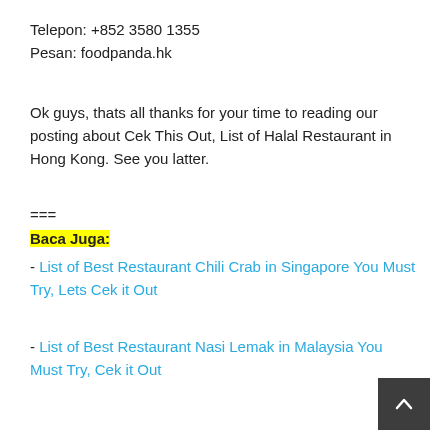Telepon: +852 3580 1355
Pesan: foodpanda.hk
Ok guys, thats all thanks for your time to reading our posting about Cek This Out, List of Halal Restaurant in Hong Kong. See you latter.
===
Baca Juga:
- List of Best Restaurant Chili Crab in Singapore You Must Try, Lets Cek it Out
- List of Best Restaurant Nasi Lemak in Malaysia You Must Try, Cek it Out